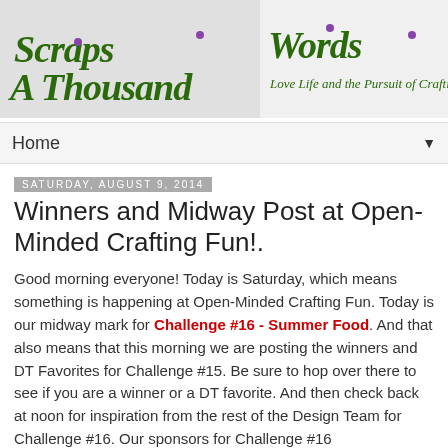[Figure (logo): Scraps A Thousand Words blog logo with decorative green script text and subtitle 'Love Life and the Pursuit of Crafting']
Home ▼
Saturday, August 9, 2014
Winners and Midway Post at Open-Minded Crafting Fun!.
Good morning everyone! Today is Saturday, which means something is happening at Open-Minded Crafting Fun. Today is our midway mark for Challenge #16 - Summer Food. And that also means that this morning we are posting the winners and DT Favorites for Challenge #15. Be sure to hop over there to see if you are a winner or a DT favorite. And then check back at noon for inspiration from the rest of the Design Team for Challenge #16. Our sponsors for Challenge #16 are...